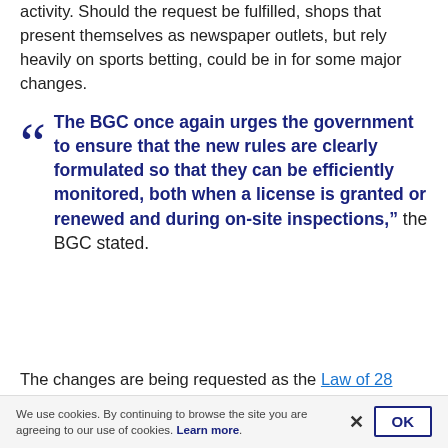activity. Should the request be fulfilled, shops that present themselves as newspaper outlets, but rely heavily on sports betting, could be in for some major changes.
“The BGC once again urges the government to ensure that the new rules are clearly formulated so that they can be efficiently monitored, both when a license is granted or renewed and during on-site inspections,” the BGC stated.
The changes are being requested as the Law of 28 November 2021 is being unveiled. Article 42 of the law,
We use cookies. By continuing to browse the site you are agreeing to our use of cookies. Learn more.